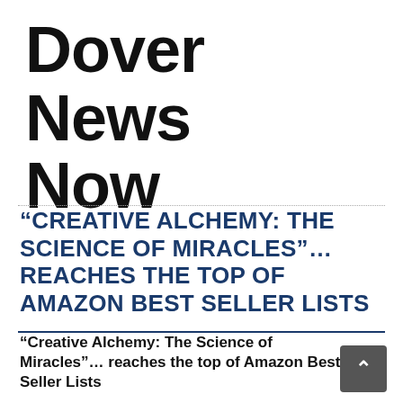Dover News Now
“CREATIVE ALCHEMY: THE SCIENCE OF MIRACLES”… REACHES THE TOP OF AMAZON BEST SELLER LISTS
“Creative Alchemy: The Science of Miracles”… reaches the top of Amazon Best Seller Lists